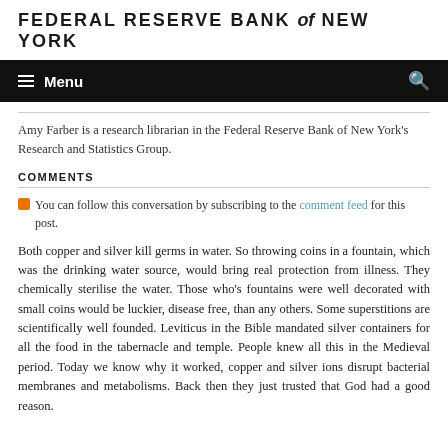FEDERAL RESERVE BANK of NEW YORK
Menu
Amy Farber is a research librarian in the Federal Reserve Bank of New York's Research and Statistics Group.
COMMENTS
You can follow this conversation by subscribing to the comment feed for this post.
Both copper and silver kill germs in water. So throwing coins in a fountain, which was the drinking water source, would bring real protection from illness. They chemically sterilise the water. Those who's fountains were well decorated with small coins would be luckier, disease free, than any others. Some superstitions are scientifically well founded. Leviticus in the Bible mandated silver containers for all the food in the tabernacle and temple. People knew all this in the Medieval period. Today we know why it worked, copper and silver ions disrupt bacterial membranes and metabolisms. Back then they just trusted that God had a good reason.